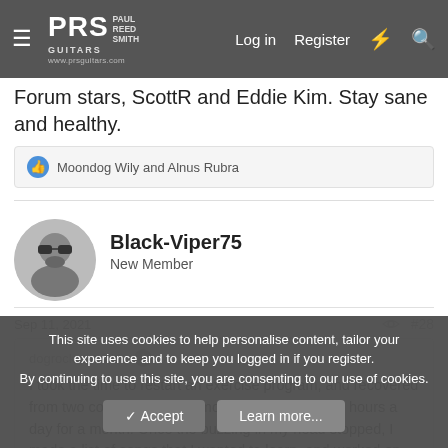PRS Guitars forum header with Log in, Register, and search icons
Forum stars, ScottR and Eddie Kim. Stay sane and healthy.
Moondog Wily and Alnus Rubra
Black-Viper75
New Member
Sep 11, 2021  #28
dogrocketp said:
I took the time to restart an exercise program, and recovered from two concussions in 6 months by sleeping 12 hours a day for a month. Once the buzzing in my head stopped, I made a list of songs that I wanted to learn, and worked on two technical problems that had stood
This site uses cookies to help personalise content, tailor your experience and to keep you logged in if you register.
By continuing to use this site, you are consenting to our use of cookies.
Accept  Learn more...